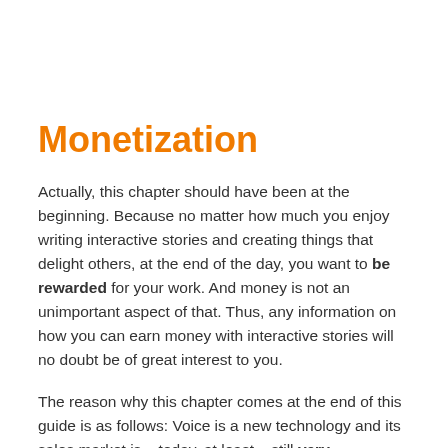Monetization
Actually, this chapter should have been at the beginning. Because no matter how much you enjoy writing interactive stories and creating things that delight others, at the end of the day, you want to be rewarded for your work. And money is not an unimportant aspect of that. Thus, any information on how you can earn money with interactive stories will no doubt be of great interest to you.
The reason why this chapter comes at the end of this guide is as follows: Voice is a new technology and its sales market is – today, at least – still very